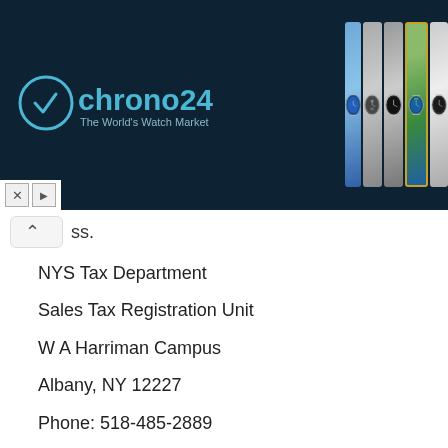[Figure (screenshot): Chrono24 watch advertisement banner showing logo on dark blue background and multiple luxury watch photos on the right side, with X and play icons at bottom left]
ss.
NYS Tax Department
Sales Tax Registration Unit
W A Harriman Campus
Albany, NY 12227
Phone: 518-485-2889
North Carolina
The Department's online filing system lets you file E-500, the Sales and Use Tax Return, online at your ease. Their Sales and Use forms can also be found for download at their website